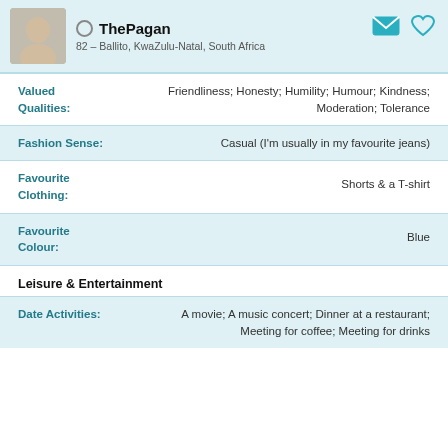ThePagan – 82 – Ballito, KwaZulu-Natal, South Africa
Valued Qualities: Friendliness; Honesty; Humility; Humour; Kindness; Moderation; Tolerance
Fashion Sense: Casual (I'm usually in my favourite jeans)
Favourite Clothing: Shorts & a T-shirt
Favourite Colour: Blue
Leisure & Entertainment
Date Activities: A movie; A music concert; Dinner at a restaurant; Meeting for coffee; Meeting for drinks